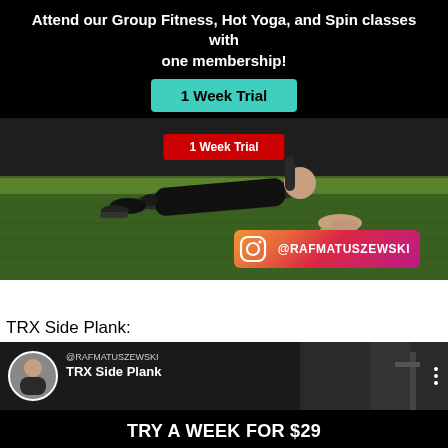Attend our Group Fitness, Hot Yoga, and Spin classes with one membership!
1 Week Trial
[Figure (photo): Person performing a plank/push-up exercise on green turf floor in a gym, with an Instagram handle badge @RAFMATUSZEWSKI overlaid at the bottom right of the image.]
TRX Side Plank:
[Figure (screenshot): Video thumbnail showing @RAFMATUSZEWSKI TRX Side Plank exercise video with avatar circle photo on left, text overlay in center, and gym equipment visible in background.]
TRY A WEEK FOR $29
1 WEEK TRIAL